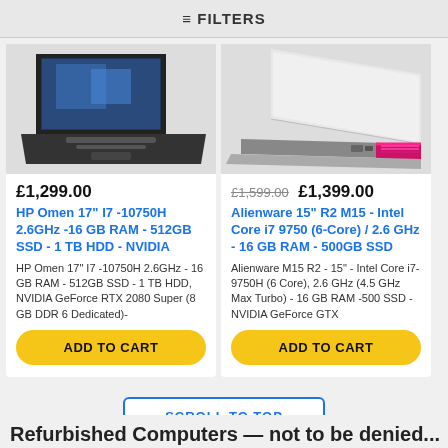≡ FILTERS
[Figure (photo): HP Omen laptop shown open at angle, dark color, photo clipped at top]
[Figure (photo): Alienware 15 laptop shown partially open, silver/white with pink/red accent lighting on hinge, photo clipped at top]
£1,299.00
HP Omen 17" I7 -10750H 2.6GHz -16 GB RAM - 512GB SSD - 1 TB HDD - NVIDIA
HP Omen 17" I7 -10750H 2.6GHz - 16 GB RAM - 512GB SSD - 1 TB HDD, NVIDIA GeForce RTX 2080 Super (8 GB DDR 6 Dedicated)-
ADD TO CART
£1,599.00  £1,399.00
Alienware 15" R2 M15 - Intel Core i7 9750 (6-Core) / 2.6 GHz - 16 GB RAM - 500GB SSD
Alienware M15 R2 - 15" - Intel Core i7-9750H (6 Core), 2.6 GHz (4.5 GHz Max Turbo) - 16 GB RAM -500 SSD - NVIDIA GeForce GTX
ADD TO CART
SCROLL TO TOP
Refurbished Computers — not to be denied...